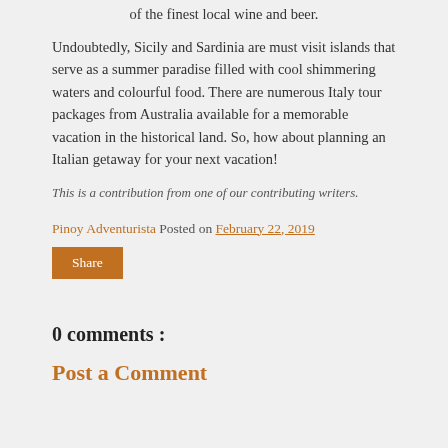of the finest local wine and beer.
Undoubtedly, Sicily and Sardinia are must visit islands that serve as a summer paradise filled with cool shimmering waters and colourful food. There are numerous Italy tour packages from Australia available for a memorable vacation in the historical land. So, how about planning an Italian getaway for your next vacation!
This is a contribution from one of our contributing writers.
Pinoy Adventurista Posted on February 22, 2019
Share
0 comments :
Post a Comment